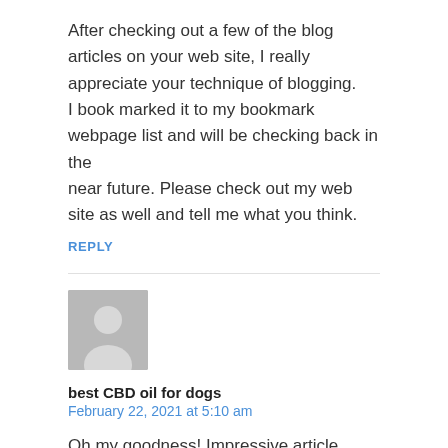After checking out a few of the blog articles on your web site, I really appreciate your technique of blogging.
I book marked it to my bookmark webpage list and will be checking back in the near future. Please check out my web site as well and tell me what you think.
REPLY
[Figure (illustration): Generic user avatar placeholder image — grey silhouette of a person on grey background]
best CBD oil for dogs
February 22, 2021 at 5:10 am
Oh my goodness! Impressive article dude! Thanks, However I am encountering problems with